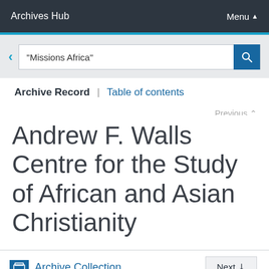Archives Hub | Menu
"Missions Africa"
Archive Record | Table of contents
Previous
Andrew F. Walls Centre for the Study of African and Asian Christianity
Archive Collection | Next